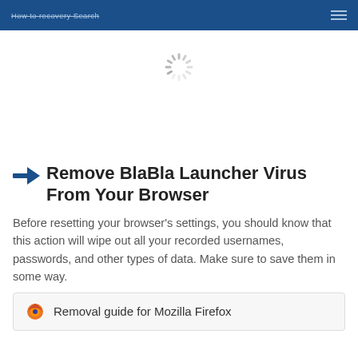How to recovery Search
[Figure (illustration): Loading spinner / activity indicator in light gray]
Remove BlaBla Launcher Virus From Your Browser
Before resetting your browser’s settings, you should know that this action will wipe out all your recorded usernames, passwords, and other types of data. Make sure to save them in some way.
Removal guide for Mozilla Firefox